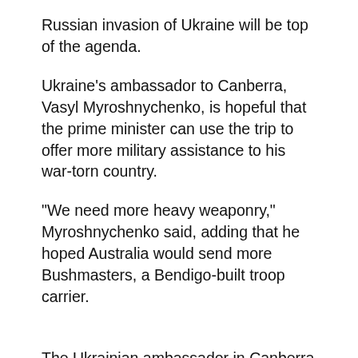Russian invasion of Ukraine will be top of the agenda.
Ukraine's ambassador to Canberra, Vasyl Myroshnychenko, is hopeful that the prime minister can use the trip to offer more military assistance to his war-torn country.
“We need more heavy weaponry,” Myroshnychenko said, adding that he hoped Australia would send more Bushmasters, a Bendigo-built troop carrier.
The Ukrainian ambassador in Canberra hopes that more military assistance can be offered to Ukraine. (Department of Defense: LACW Emma Schwenke)